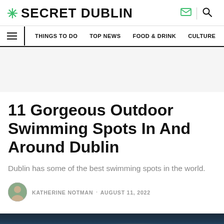* SECRET DUBLIN
THINGS TO DO · TOP NEWS · FOOD & DRINK · CULTURE
11 Gorgeous Outdoor Swimming Spots In And Around Dublin
Dublin has some of the best swimming spots in the world.
KATHERINE NOTMAN · AUGUST 11, 2022
[Figure (photo): Outdoor swimming spot near Dublin, twilight/sunset scene over water]